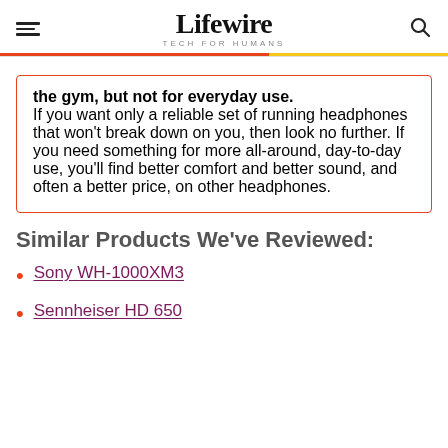Lifewire TECH FOR HUMANS
the gym, but not for everyday use.

If you want only a reliable set of running headphones that won't break down on you, then look no further. If you need something for more all-around, day-to-day use, you'll find better comfort and better sound, and often a better price, on other headphones.
Similar Products We've Reviewed:
Sony WH-1000XM3
Sennheiser HD 650